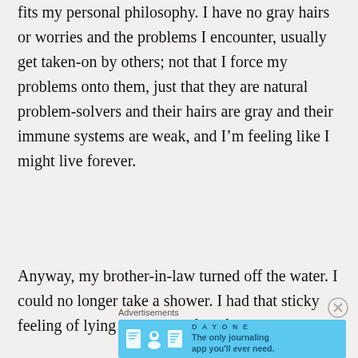fits my personal philosophy. I have no gray hairs or worries and the problems I encounter, usually get taken-on by others; not that I force my problems onto them, just that they are natural problem-solvers and their hairs are gray and their immune systems are weak, and I'm feeling like I might live forever.
Anyway, my brother-in-law turned off the water. I could no longer take a shower. I had that sticky feeling of lying in my own filth for 3 days.
Advertisements
[Figure (screenshot): Advertisement banner for Day One journaling app with blue background, app icons, and text 'The only journaling app you'll ever need.']